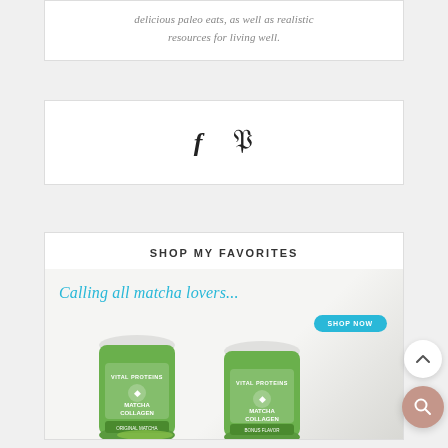delicious paleo eats, as well as realistic resources for living well.
[Figure (other): Social sharing icons: Facebook (f) and Pinterest (P) icons in a white bordered box]
SHOP MY FAVORITES
[Figure (illustration): Vital Proteins Matcha Collagen advertisement showing two green cans of Vital Proteins Matcha Collagen with cursive text 'Calling all matcha lovers...' in teal and a 'SHOP NOW' teal button]